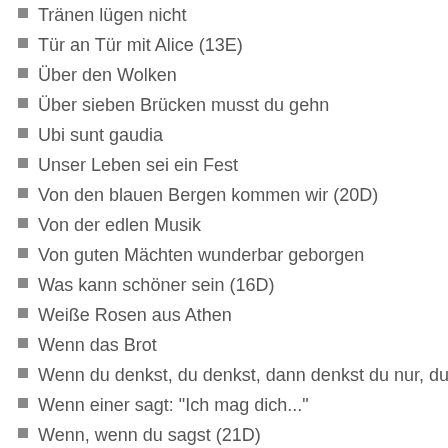Tränen lügen nicht
Tür an Tür mit Alice (13E)
Über den Wolken
Über sieben Brücken musst du gehn
Ubi sunt gaudia
Unser Leben sei ein Fest
Von den blauen Bergen kommen wir (20D)
Von der edlen Musik
Von guten Mächten wunderbar geborgen
Was kann schöner sein (16D)
Weiße Rosen aus Athen
Wenn das Brot
Wenn du denkst, du denkst, dann denkst du nur, du den
Wenn einer sagt: "Ich mag dich..."
Wenn, wenn du sagst (21D)
When (21E)
When I'm Sixty - Four
When Israel was in Egypt's land
Where do you go to my lovely
Where have all the flowers gone (18E)
Willst du mit mir geh'n?
Wind of change
Winds of change
With a little help from my friends
Words
Yellow Submarine